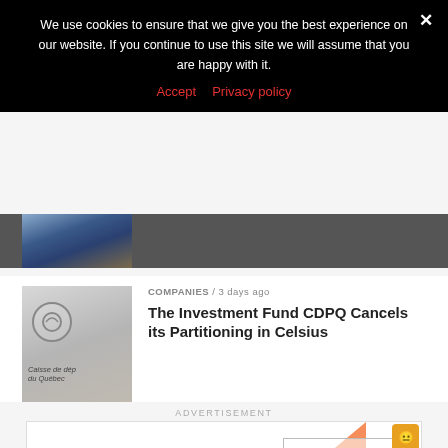We use cookies to ensure that we give you the best experience on our website. If you continue to use this site we will assume that you are happy with it.
Accept  Privacy policy
[Figure (photo): Partial view of building/interior image]
[Figure (photo): Caisse de depot du Quebec building signage, grey wall with circular logo]
COMPANIES / 3 days ago
The Investment Fund CDPQ Cancels its Partitioning in Celsius
ADVERTISEMENT
[Figure (infographic): Advertisement placeholder: orange triangle graphic with 'Place your AD here' text and a small emoji icon in top right corner, plus a framed rectangle overlay]